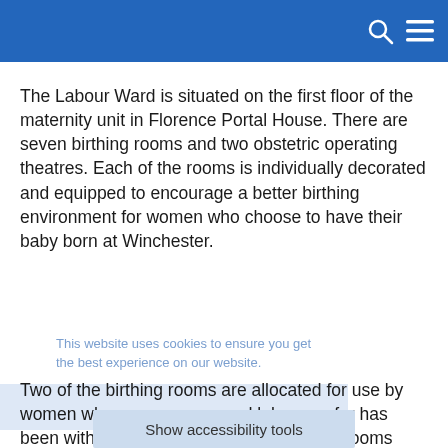The Labour Ward is situated on the first floor of the maternity unit in Florence Portal House. There are seven birthing rooms and two obstetric operating theatres. Each of the rooms is individually decorated and equipped to encourage a better birthing environment for women who choose to have their baby born at Winchester.
Two of the birthing rooms are allocated for use by women whose pregnancy and labour so far has been without complication. Both of these rooms have a birthing pool, mood lighting, bluetooth en-suite